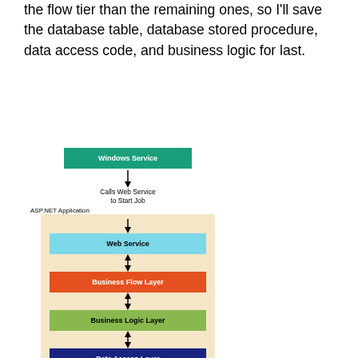the flow tier than the remaining ones, so I'll save the database table, database stored procedure, data access code, and business logic for last.
[Figure (flowchart): Layered architecture flowchart showing: Windows Service → (Calls Web Service to Start Job) → ASP.NET Application box containing: Web Service ↔ Business Flow Layer ↔ Business Logic Layer ↔ Data Access Layer ↔ Microsoft Data Access Application Block ↔ Stored Procedures (partial)]